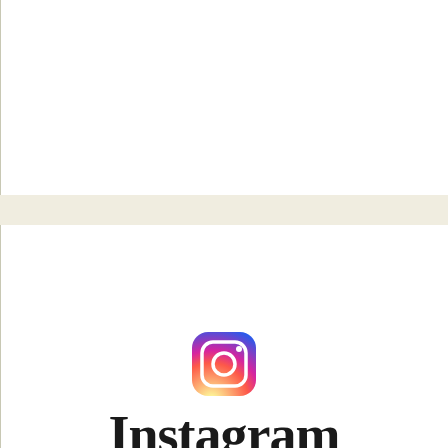[Figure (logo): Instagram camera icon logo with gradient from yellow-orange to pink-red to purple, rounded square shape with circle and dot]
Instagram